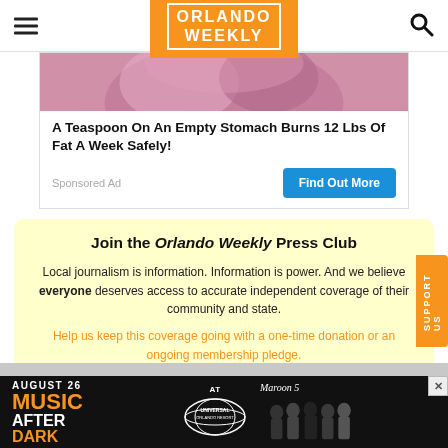Orlando Weekly
[Figure (photo): Pink/rose colored image (partial, cropped at top) appearing to show a person wrapped in pink fabric]
A Teaspoon On An Empty Stomach Burns 12 Lbs Of Fat A Week Safely!
Sponsored Ad
Find Out More
Join the Orlando Weekly Press Club
Local journalism is information. Information is power. And we believe everyone deserves access to accurate independent coverage of their community and state.
Help us keep this coverage going with a one-time donation or an ongoing membership pledge.
[Figure (photo): Advertisement banner: August 26 Music After Dark at Universal Orlando Resort with Maroon 5]